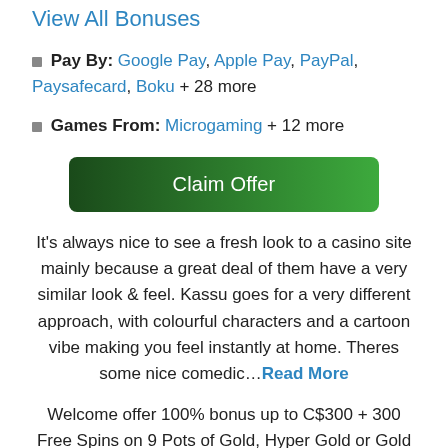View All Bonuses
🔲 Pay By: Google Pay, Apple Pay, PayPal, Paysafecard, Boku + 28 more
🔲 Games From: Microgaming + 12 more
Claim Offer
It's always nice to see a fresh look to a casino site mainly because a great deal of them have a very similar look & feel. Kassu goes for a very different approach, with colourful characters and a cartoon vibe making you feel instantly at home. Theres some nice comedic…Read More
Welcome offer 100% bonus up to C$300 + 300 Free Spins on 9 Pots of Gold, Hyper Gold or Gold